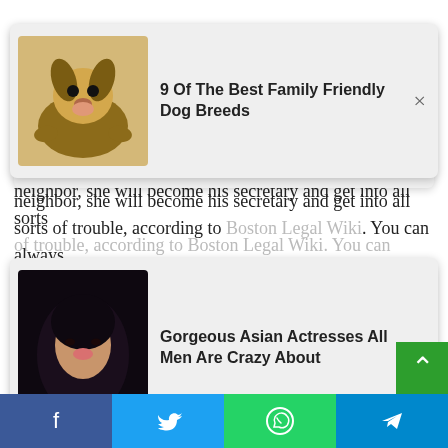[Figure (other): Ad card popup with dog photo: 9 Of The Best Family Friendly Dog Breeds]
neighbor, she will become his secretary and get into all sorts of trouble, according to Boston Legal Wiki. You can always
[Figure (other): Ad card popup with woman photo: Gorgeous Asian Actresses All Men Are Crazy About]
"When David E. Kelley wrote you a part, it was a privilege. He made her such a complete character," White said. Weekly entertainment. The role of Catherine is one of White's favorites, and that's no surprise when you remember exactly what Alan Shore's assistant was up to when she showed up (via The Hollywood Reporter). "You've seen her kill and run away. You've seen her rob two convenience stores and leave," White said, adding that the whole time Kelley tried to keep her alive. "I love Catherine," the actress concluded.
Facebook | Twitter | WhatsApp | Telegram